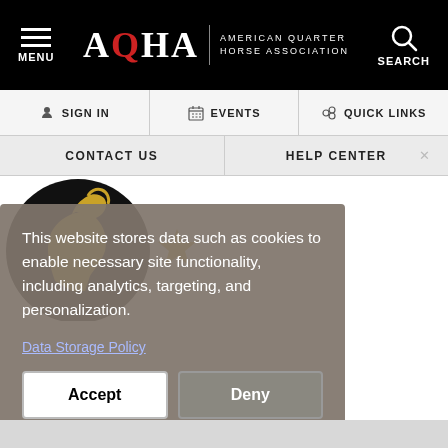[Figure (screenshot): AQHA website header with black background showing hamburger menu on left, AQHA American Quarter Horse Association logo in center, and search icon on right]
SIGN IN | EVENTS | QUICK LINKS
CONTACT US | HELP CENTER
[Figure (logo): AQHA gold horse silhouette on black circle logo, with gold star decoration]
This website stores data such as cookies to enable necessary site functionality, including analytics, targeting, and personalization.
Data Storage Policy
Accept
Deny